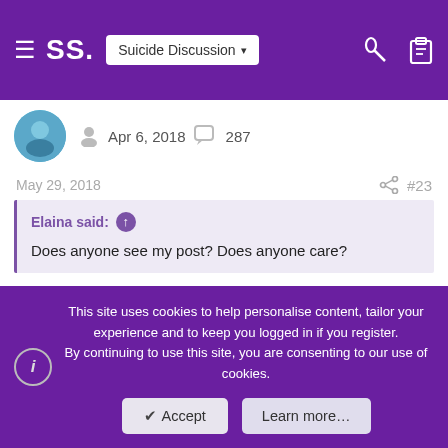SS. Suicide Discussion
Apr 6, 2018   287
May 29, 2018   #23
Elaina said: ↑
Does anyone see my post? Does anyone care?
It says your delivery failed. It might RTS. Maybe try to have it resent to a different address if it does.
This site uses cookies to help personalise content, tailor your experience and to keep you logged in if you register.
By continuing to use this site, you are consenting to our use of cookies.
✔ Accept   Learn more…